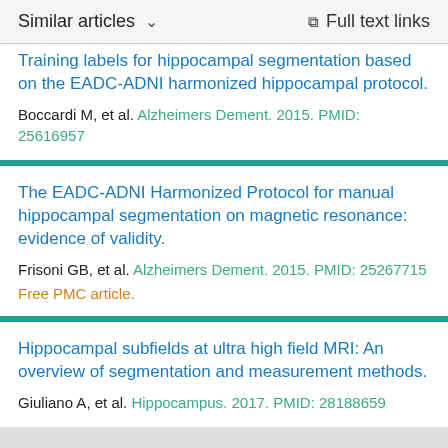Similar articles  ∨    Full text links
Training labels for hippocampal segmentation based on the EADC-ADNI harmonized hippocampal protocol.
Boccardi M, et al. Alzheimers Dement. 2015. PMID: 25616957
The EADC-ADNI Harmonized Protocol for manual hippocampal segmentation on magnetic resonance: evidence of validity.
Frisoni GB, et al. Alzheimers Dement. 2015. PMID: 25267715
Free PMC article.
Hippocampal subfields at ultra high field MRI: An overview of segmentation and measurement methods.
Giuliano A, et al. Hippocampus. 2017. PMID: 28188659